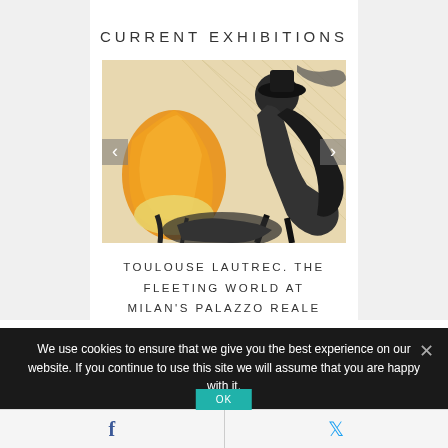CURRENT EXHIBITIONS
[Figure (illustration): A colorful artwork detail from a Toulouse-Lautrec print showing a dancer in an orange dress with dark figures in the background. Carousel arrows (< >) are overlaid on left and right sides of the image.]
TOULOUSE LAUTREC. THE FLEETING WORLD AT MILAN'S PALAZZO REALE
We use cookies to ensure that we give you the best experience on our website. If you continue to use this site we will assume that you are happy with it.